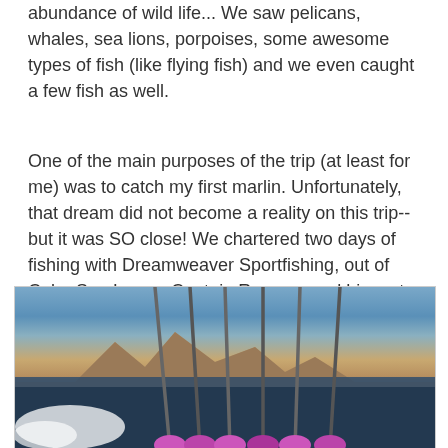abundance of wild life... We saw pelicans, whales, sea lions, porpoises, some awesome types of fish (like flying fish) and we even caught a few fish as well.
One of the main purposes of the trip (at least for me) was to catch my first marlin. Unfortunately, that dream did not become a reality on this trip--but it was SO close! We chartered two days of fishing with Dreamweaver Sportfishing, out of Cabo San Lucas. Captain Ramone and his mate Fernando were both outstanding fishermen, and they tried their hearts out to get me my first marlin. In the end, the unusually slow fishing got the best of us, but we did have some exciting action...
[Figure (photo): Fishing rods on a sport fishing boat with the rocky coastline of Cabo San Lucas in the background, ocean spray visible, purple fishing reels at the bottom]